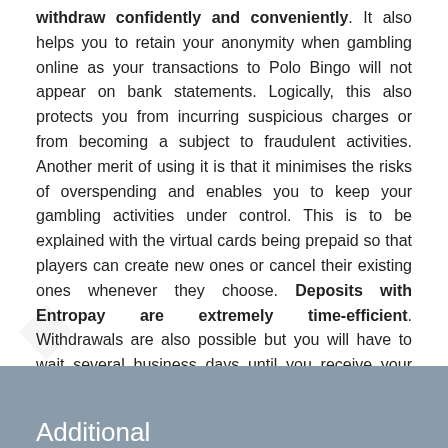withdraw confidently and conveniently. It also helps you to retain your anonymity when gambling online as your transactions to Polo Bingo will not appear on bank statements. Logically, this also protects you from incurring suspicious charges or from becoming a subject to fraudulent activities. Another merit of using it is that it minimises the risks of overspending and enables you to keep your gambling activities under control. This is to be explained with the virtual cards being prepaid so that players can create new ones or cancel their existing ones whenever they choose. Deposits with Entropay are extremely time-efficient. Withdrawals are also possible but you will have to wait several business days until you receive your profits from Polo Bingo.
Additional